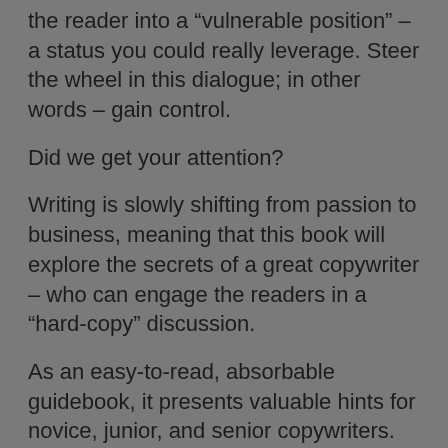the reader into a “vulnerable position” – a status you could really leverage. Steer the wheel in this dialogue; in other words – gain control.
Did we get your attention?
Writing is slowly shifting from passion to business, meaning that this book will explore the secrets of a great copywriter – who can engage the readers in a “hard-copy” discussion.
As an easy-to-read, absorbable guidebook, it presents valuable hints for novice, junior, and senior copywriters.
Look what this book has in store?